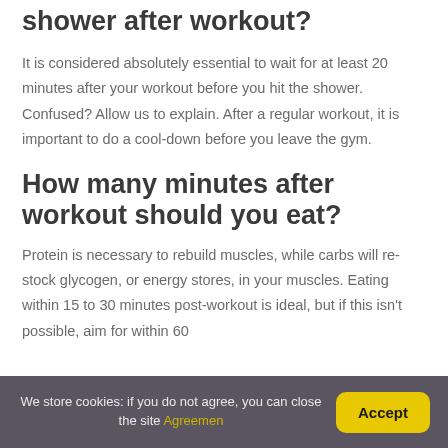shower after workout?
It is considered absolutely essential to wait for at least 20 minutes after your workout before you hit the shower. Confused? Allow us to explain. After a regular workout, it is important to do a cool-down before you leave the gym.
How many minutes after workout should you eat?
Protein is necessary to rebuild muscles, while carbs will re-stock glycogen, or energy stores, in your muscles. Eating within 15 to 30 minutes post-workout is ideal, but if this isn't possible, aim for within 60
We store cookies: if you do not agree, you can close the site Agreemen